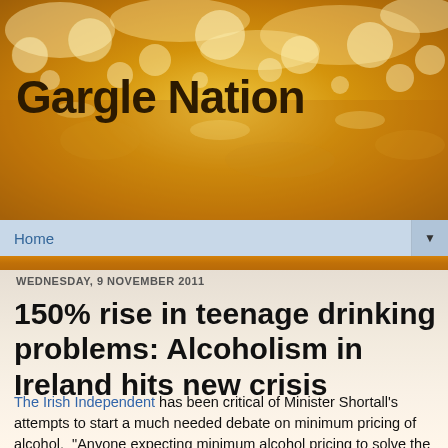[Figure (photo): Beer foam/bubbles close-up photo used as website header background, golden amber tones]
Gargle Nation
Home ▼
WEDNESDAY, 9 NOVEMBER 2011
150% rise in teenage drinking problems: Alcoholism in Ireland hits new crisis
The Irish Independent has been critical of Minister Shortall's attempts to start a much needed debate on minimum pricing of alcohol. "Anyone expecting minimum alcohol pricing to solve the problem of alcohol abuse overnight is likely to be disappointed. Believe it or not, overall Irish levels of alcohol consumption, while still relatively high, have been falling since the turn of the century". That certainly is hard to believe, particularly when the HSE has published a report